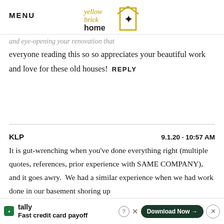MENU | yellow brick home logo
...and eye-opening your renovation that everyone reading this so so appreciates your beautiful work and love for these old houses!  REPLY
KLP   9.1.20 · 10:57 AM
It is gut-wrenching when you've done everything right (multiple quotes, references, prior experience with SAME COMPANY), and it goes awry.  We had a similar experience when we had work done in our basement shoring up the...
[Figure (screenshot): Tally advertisement banner: Fast credit card payoff with Download Now button]